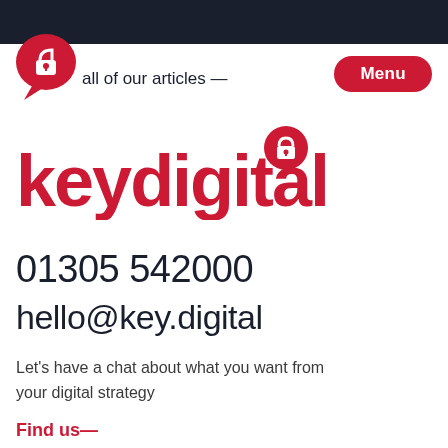all of our articles —
[Figure (logo): keydigital logo with lock icon in red speech bubble, brand name in red bold text]
01305 542000
hello@key.digital
Let's have a chat about what you want from your digital strategy
Find us—